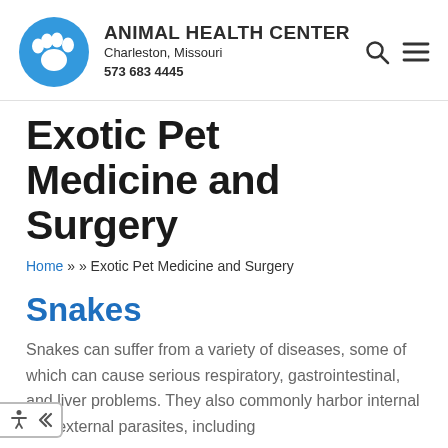ANIMAL HEALTH CENTER
Charleston, Missouri
573 683 4445
Exotic Pet Medicine and Surgery
Home » » Exotic Pet Medicine and Surgery
Snakes
Snakes can suffer from a variety of diseases, some of which can cause serious respiratory, gastrointestinal, and liver problems. They also commonly harbor internal and external parasites, including